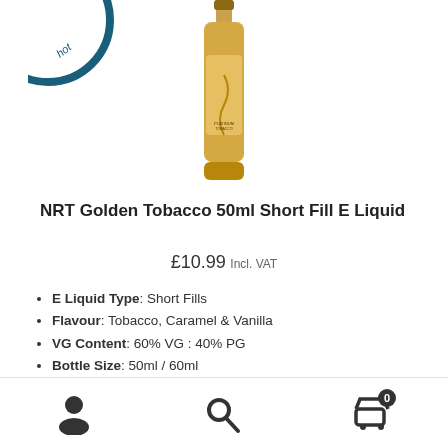[Figure (photo): Product image of NRT Golden Tobacco 50ml Short Fill E Liquid bottle (gold/amber colored bottle) and a partial circular badge/seal in top left corner]
NRT Golden Tobacco 50ml Short Fill E Liquid
£10.99 Incl. VAT
E Liquid Type: Short Fills
Flavour: Tobacco, Caramel & Vanilla
VG Content: 60% VG : 40% PG
Bottle Size: 50ml / 60ml
Nicotine Strength: 0mg / 3mg
Manufactured: UK
Offers: 2 x Short Fills for £15 including Nic Shots!
Navigation bar with account, search, and cart icons